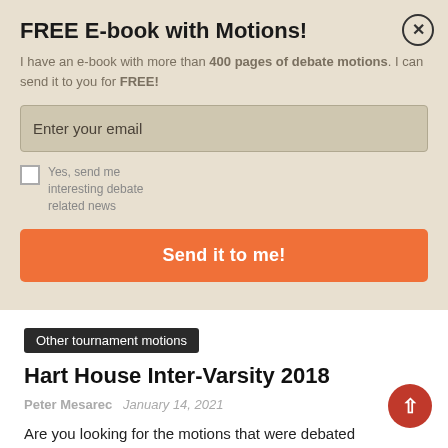FREE E-book with Motions!
I have an e-book with more than 400 pages of debate motions. I can send it to you for FREE!
Enter your email
Yes, send me interesting debate related news
Send it to me!
Other tournament motions
Hart House Inter-Varsity 2018
Peter Mesarec   January 14, 2021
Are you looking for the motions that were debated the Hart House Inter-Varsity 2018 ? It was held on the 10/12/2018. If you were there, please check the